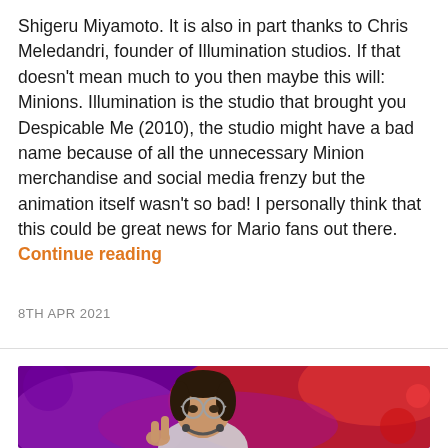Shigeru Miyamoto. It is also in part thanks to Chris Meledandri, founder of Illumination studios. If that doesn't mean much to you then maybe this will: Minions. Illumination is the studio that brought you Despicable Me (2010), the studio might have a bad name because of all the unnecessary Minion merchandise and social media frenzy but the animation itself wasn't so bad! I personally think that this could be great news for Mario fans out there. Continue reading
8TH APR 2021
[Figure (photo): Animated character: a young girl with round glasses, dark hair pulled back, wearing a school uniform with headphones around neck, raising fingers in a peace/wave gesture, set against a vivid red and purple abstract background.]